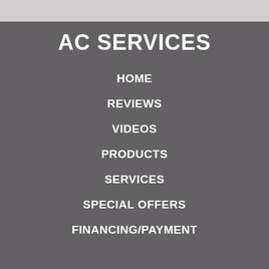AC SERVICES
HOME
REVIEWS
VIDEOS
PRODUCTS
SERVICES
SPECIAL OFFERS
FINANCING/PAYMENT